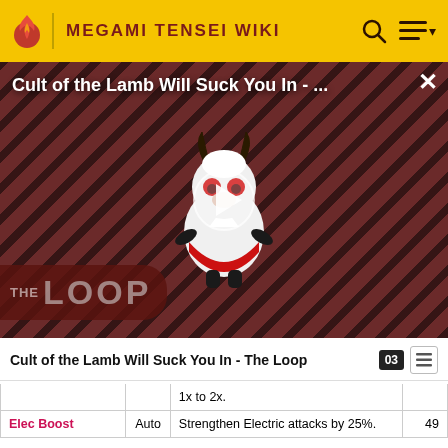MEGAMI TENSEI WIKI
[Figure (screenshot): Video thumbnail for 'Cult of the Lamb Will Suck You In - ...' showing a cartoon lamb character with red eyes on a striped red/black background, with THE LOOP branding and a play button overlay, plus a close X button in the top right.]
Cult of the Lamb Will Suck You In - The Loop
| Skill | Type | Description | Level |
| --- | --- | --- | --- |
|  |  | 1x to 2x. |  |
| Elec Boost | Auto | Strengthen Electric attacks by 25%. | 49 |